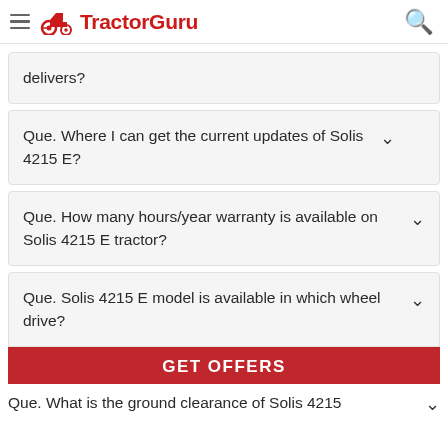TractorGuru
delivers?
Que. Where I can get the current updates of Solis 4215 E?
Que. How many hours/year warranty is available on Solis 4215 E tractor?
Que. Solis 4215 E model is available in which wheel drive?
GET OFFERS
Que. What is the ground clearance of Solis 4215